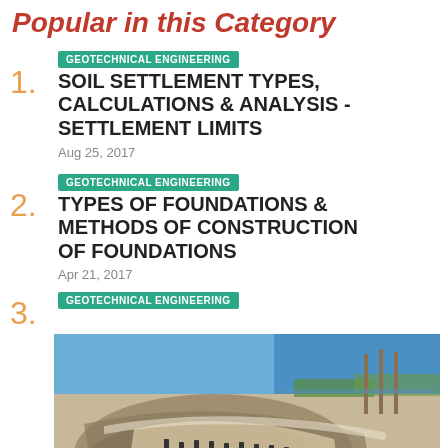Popular in this Category
1. GEOTECHNICAL ENGINEERING — SOIL SETTLEMENT TYPES, CALCULATIONS & ANALYSIS - SETTLEMENT LIMITS — Aug 25, 2017
2. GEOTECHNICAL ENGINEERING — TYPES OF FOUNDATIONS & METHODS OF CONSTRUCTION OF FOUNDATIONS — Apr 21, 2017
3. GEOTECHNICAL ENGINEERING — [photo of construction site with piles]